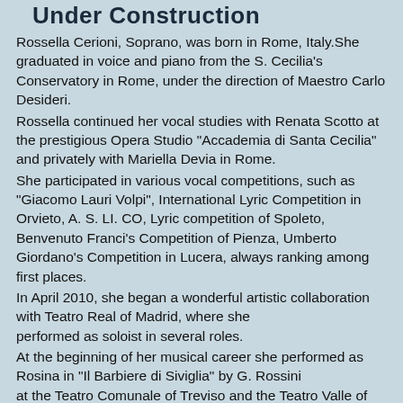Under Construction
Rossella Cerioni, Soprano, was born in Rome, Italy. She graduated in voice and piano from the S. Cecilia's Conservatory in Rome, under the direction of Maestro Carlo Desideri.
Rossella continued her vocal studies with Renata Scotto at the prestigious Opera Studio "Accademia di Santa Cecilia" and privately with Mariella Devia in Rome.
She participated in various vocal competitions, such as "Giacomo Lauri Volpi", International Lyric Competition in Orvieto, A. S. LI. CO, Lyric competition of Spoleto, Benvenuto Franci's Competition of Pienza, Umberto Giordano's Competition in Lucera, always ranking among first places.
In April 2010, she began a wonderful artistic collaboration with Teatro Real of Madrid, where she performed as soloist in several roles.
At the beginning of her musical career she performed as Rosina in "Il Barbiere di Siviglia" by G. Rossini at the Teatro Comunale of Treviso and the Teatro Valle of Roma, performed the role of Fiordiligi in "Cosi fan tutte" by W.A. Mozart in Napoli, the role of Adina in "L'Elisir d'amore" by G. Donizetti at the Teatro Mancinelli of Orvieto, the role of Donna Fiorilla in "Il Turco in Italia" by G. Rossini at the Fondazione teatri of Piacenza, the role of